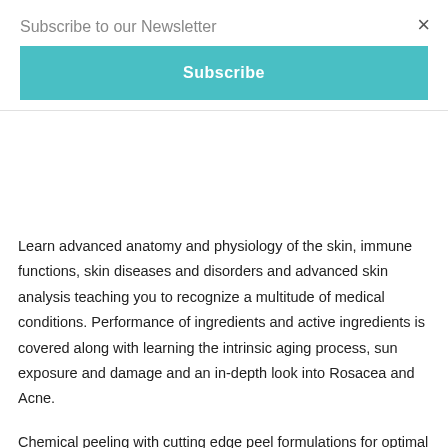Subscribe to our Newsletter
Subscribe
Learn advanced anatomy and physiology of the skin, immune functions, skin diseases and disorders and advanced skin analysis teaching you to recognize a multitude of medical conditions. Performance of ingredients and active ingredients is covered along with learning the intrinsic aging process, sun exposure and damage and an in-depth look into Rosacea and Acne.
Chemical peeling with cutting edge peel formulations for optimal customization is also covered with our exclusive LIGHTEN, TIGHTEN